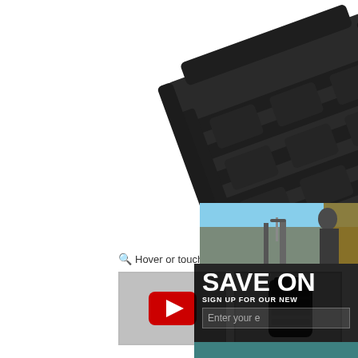[Figure (photo): Black polymer rifle magazine (airsoft/PTS style) shown at an angle on white background with EVIKE watermark repeated across the image]
Hover or touch above to zoom
[Figure (screenshot): YouTube video thumbnail placeholder with red YouTube play button icon on grey background]
[Figure (photo): Small thumbnail of the same black rifle magazine product]
[Figure (photo): Right side: outdoor tactical/military scene with soldier and equipment against sky background, partially overlapped by newsletter popup]
[Figure (logo): PTS logo - brown/orange square logo with stylized PTS letters]
SAVE ON
SIGN UP FOR OUR NEW
Enter your e